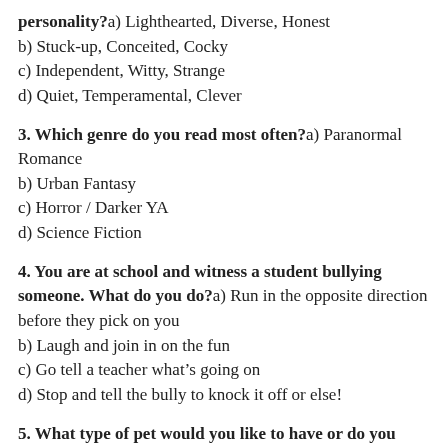personality? a) Lighthearted, Diverse, Honest
b) Stuck-up, Conceited, Cocky
c) Independent, Witty, Strange
d) Quiet, Temperamental, Clever
3. Which genre do you read most often? a) Paranormal Romance
b) Urban Fantasy
c) Horror / Darker YA
d) Science Fiction
4. You are at school and witness a student bullying someone. What do you do? a) Run in the opposite direction before they pick on you
b) Laugh and join in on the fun
c) Go tell a teacher what’s going on
d) Stop and tell the bully to knock it off or else!
5. What type of pet would you like to have or do you